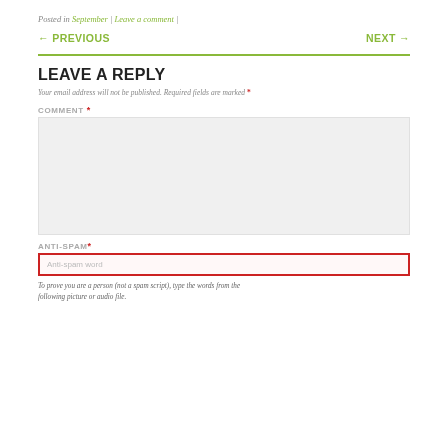Posted in September | Leave a comment |
← PREVIOUS    NEXT →
LEAVE A REPLY
Your email address will not be published. Required fields are marked *
COMMENT *
ANTI-SPAM*
Anti-spam word
To prove you are a person (not a spam script), type the words from the following picture or audio file.